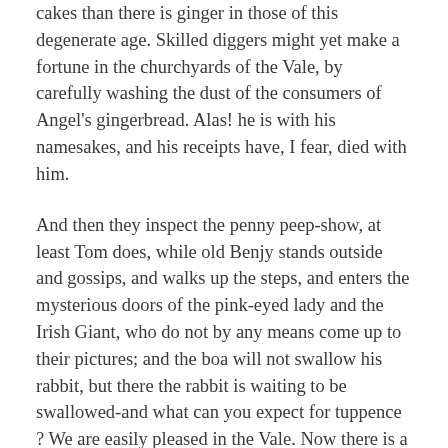cakes than there is ginger in those of this degenerate age. Skilled diggers might yet make a fortune in the churchyards of the Vale, by carefully washing the dust of the consumers of Angel's gingerbread. Alas! he is with his namesakes, and his receipts have, I fear, died with him.
And then they inspect the penny peep-show, at least Tom does, while old Benjy stands outside and gossips, and walks up the steps, and enters the mysterious doors of the pink-eyed lady and the Irish Giant, who do not by any means come up to their pictures; and the boa will not swallow his rabbit, but there the rabbit is waiting to be swallowed-and what can you expect for tuppence ? We are easily pleased in the Vale. Now there is a rush of the crowd, and a